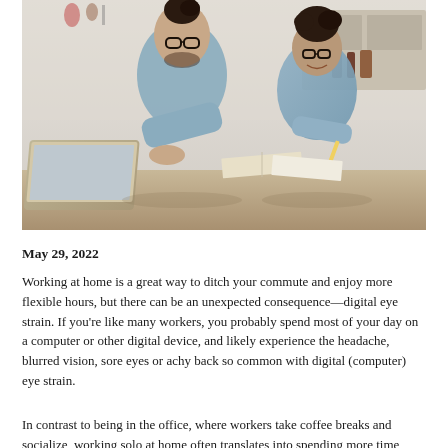[Figure (photo): A man with glasses and curly hair in a denim shirt working on a laptop, sitting next to a young child with curly hair also wearing glasses and a denim shirt, smiling and holding a pencil, with an open book on the table, in a kitchen setting.]
May 29, 2022
Working at home is a great way to ditch your commute and enjoy more flexible hours, but there can be an unexpected consequence—digital eye strain. If you're like many workers, you probably spend most of your day on a computer or other digital device, and likely experience the headache, blurred vision, sore eyes or achy back so common with digital (computer) eye strain.
In contrast to being in the office, where workers take coffee breaks and socialize, working solo at home often translates into spending more time